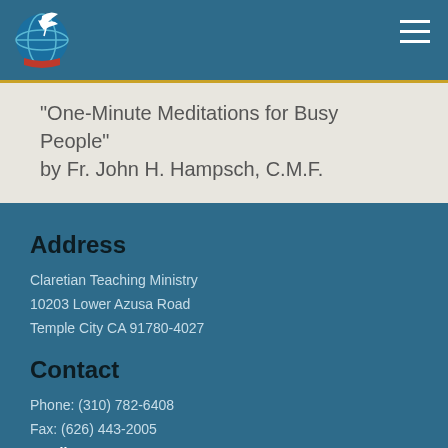[Figure (logo): Claretian Teaching Ministry globe and dove logo]
“One-Minute Meditations for Busy People” by Fr. John H. Hampsch, C.M.F.
Address
Claretian Teaching Ministry
10203 Lower Azusa Road
Temple City CA 91780-4027
Contact
Phone: (310) 782-6408
Fax: (626) 443-2005
Email Form